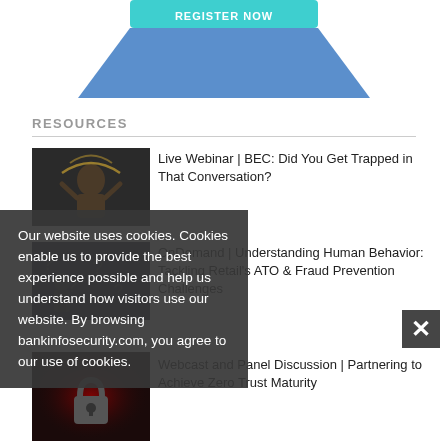[Figure (illustration): Top of page showing partial blue trapezoid/funnel shape with text (partially cut off) at top]
RESOURCES
[Figure (photo): Dark photo of a bearded man with hands raised and glowing light behind him]
Live Webinar | BEC: Did You Get Trapped in That Conversation?
[Figure (photo): Dark photo with question marks and a suited figure]
OnDemand | Understanding Human Behavior: Tackling Retail's ATO & Fraud Prevention Challenges
[Figure (photo): Dark red/black photo with a padlock icon]
Webcast and Panel Discussion | Partnering to Achieve Zero Trust Maturity
Our website uses cookies. Cookies enable us to provide the best experience possible and help us understand how visitors use our website. By browsing bankinfosecurity.com, you agree to our use of cookies.